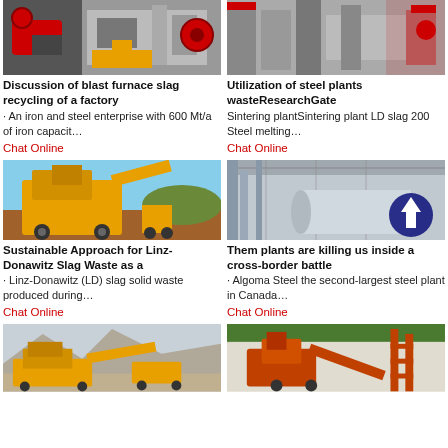[Figure (photo): Industrial machinery/crusher equipment photo - top left]
Discussion of blast furnace slag recycling of a factory
· An iron and steel enterprise with 600 Mt/a of iron capacit…
Chat Online
[Figure (photo): Industrial steel plant equipment photo - top right]
Utilization of steel plants wasteResearchGate
Sintering plantSintering plant LD slag 200 Steel melting…
Chat Online
[Figure (photo): Yellow crusher/impact machine at a dirt site - middle left]
Sustainable Approach for Linz-Donawitz Slag Waste as a
· Linz-Donawitz (LD) slag solid waste produced during…
Chat Online
[Figure (photo): Industrial plant interior with large cylindrical equipment - middle right]
Them plants are killing us inside a cross-border battle
· Algoma Steel the second-largest steel plant in Canada…
Chat Online
[Figure (photo): Yellow mobile crushing equipment in mountain/desert area - bottom left]
[Figure (photo): Orange/red mining equipment on white hillside - bottom right]